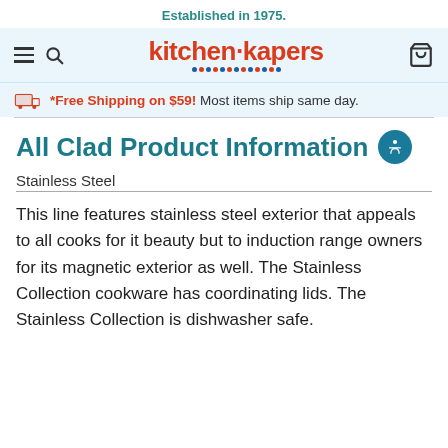Established in 1975.
[Figure (logo): Kitchen Kapers logo with hamburger menu, search icon, and cart icon on light blue background]
*Free Shipping on $59!  Most items ship same day.
All Clad Product Information
Stainless Steel
This line features stainless steel exterior that appeals to all cooks for it beauty but to induction range owners for its magnetic exterior as well. The Stainless Collection cookware has coordinating lids. The Stainless Collection is dishwasher safe.